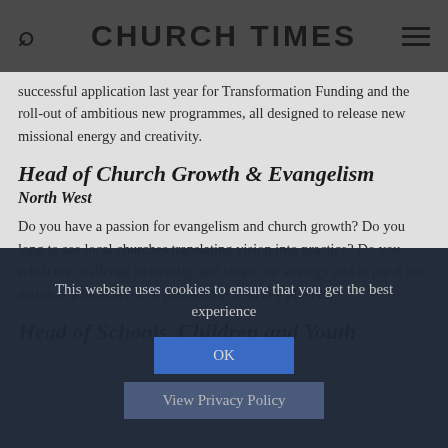CHURCH TIMES
successful application last year for Transformation Funding and the roll-out of ambitious new programmes, all designed to release new missional energy and creativity.
Head of Church Growth & Evangelism
North West
Do you have a passion for evangelism and church growth? Do you long to see local churches translating vision into practice? Do you relish the challenge to develop and shape our strategy and to put it into action at a local level, in partnership with key players?
Head of Schools, Children and Youth
This website uses cookies to ensure that you get the best experience
OK
View Privacy Policy